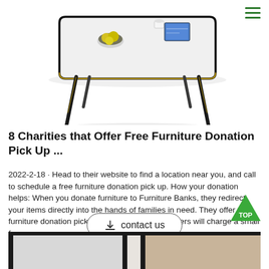[Figure (photo): A modern white dining table with black tapered legs, a bowl of lemons and a cup/book on the surface, on white background]
8 Charities that Offer Free Furniture Donation Pick Up ...
2022-2-18 · Head to their website to find a location near you, and call to schedule a free furniture donation pick up. How your donation helps: When you donate furniture to Furniture Banks, they redirect your items directly into the hands of families in need. They offer free furniture donation pickup in some areas, but others will charge a small fee.
[Figure (other): Contact us button with download icon]
[Figure (other): Green triangle TOP button]
[Figure (photo): Bottom portion of a modern white cabinet/dresser with dark frame elements, partially visible]